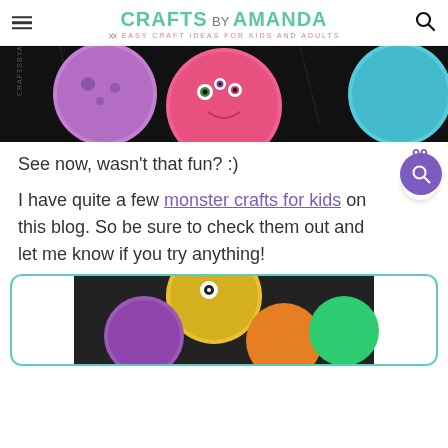CRAFTS BY AMANDA — EASY CRAFT IDEAS FOR KIDS AND ADULTS
[Figure (photo): Paper plate monster crafts on a dark background — colorful pink, purple, and blue/teal monster faces with googly eyes]
See now, wasn't that fun? :)
I have quite a few monster crafts for kids on this blog. So be sure to check them out and let me know if you try anything!
[Figure (photo): Colorful monster paper plate crafts on dark background, partially visible at bottom of page]